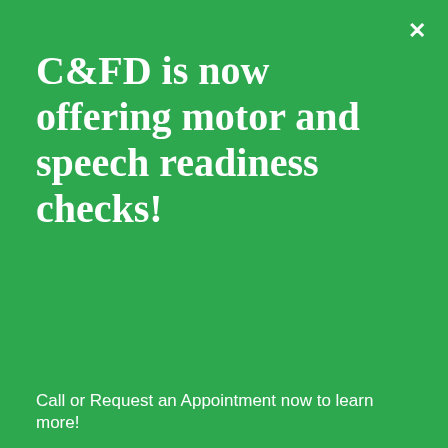C&FD is now offering motor and speech readiness checks!
Call or Request an Appointment now to learn more!
Request Now
classroom
FACT: The law requires special education students to be taught in the Least Restrictive Environment. This means that children should be educated with non-disabled peers in the